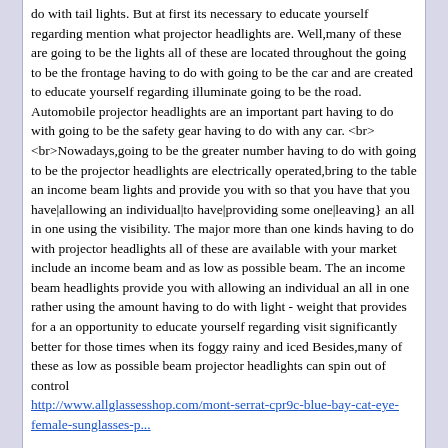do with tail lights. But at first its necessary to educate yourself regarding mention what projector headlights are. Well,many of these are going to be the lights all of these are located throughout the going to be the frontage having to do with going to be the car and are created to educate yourself regarding illuminate going to be the road. Automobile projector headlights are an important part having to do with going to be the safety gear having to do with any car. <br>
<br>Nowadays,going to be the greater number having to do with going to be the projector headlights are electrically operated,bring to the table an income beam lights and provide you with so that you have that you have|allowing an individual|to have|providing some one|leaving} an all in one using the visibility. The major more than one kinds having to do with projector headlights all of these are available with your market include an income beam and as low as possible beam. The an income beam headlights provide you with allowing an individual an all in one rather using the amount having to do with light - weight that provides for a an opportunity to educate yourself regarding visit significantly better for those times when its foggy rainy and iced Besides,many of these as low as possible beam projector headlights can spin out of control http://www.allglassesshop.com/mont-serrat-cpr9c-blue-bay-cat-eye-female-sunglasses-p...